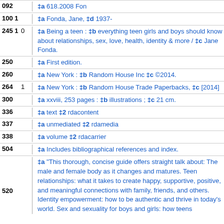| Tag | Ind |  | Data |
| --- | --- | --- | --- |
| 092 |  |  | ‡a 618.2008 Fon |
| 100 1 |  |  | ‡a Fonda, Jane, ‡d 1937- |
| 245 1 | 0 |  | ‡a Being a teen : ‡b everything teen girls and boys should know about relationships, sex, love, health, identity & more / ‡c Jane Fonda. |
| 250 |  |  | ‡a First edition. |
| 260 |  |  | ‡a New York : ‡b Random House Inc ‡c ©2014. |
| 264 | 1 |  | ‡a New York : ‡b Random House Trade Paperbacks, ‡c [2014] |
| 300 |  |  | ‡a xxviii, 253 pages : ‡b illustrations ; ‡c 21 cm. |
| 336 |  |  | ‡a text ‡2 rdacontent |
| 337 |  |  | ‡a unmediated ‡2 rdamedia |
| 338 |  |  | ‡a volume ‡2 rdacarrier |
| 504 |  |  | ‡a Includes bibliographical references and index. |
| 520 |  |  | ‡a "This thorough, concise guide offers straight talk about: The male and female body as it changes and matures. Teen relationships: what it takes to create happy, supportive, positive, and meaningful connections with family, friends, and others. Identity empowerment: how to be authentic and thrive in today's world. Sex and sexuality for boys and girls: how teens |